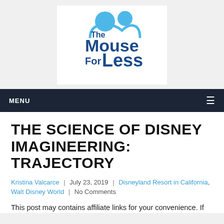[Figure (logo): The Mouse For Less logo: dark blue and light blue text with Mickey Mouse ears silhouette above]
MENU
THE SCIENCE OF DISNEY IMAGINEERING: TRAJECTORY
Kristina Valcarce | July 23, 2019 | Disneyland Resort in California, Walt Disney World | No Comments
This post may contains affiliate links for your convenience. If